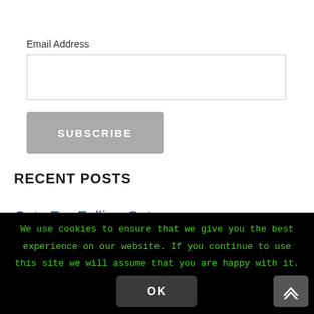Email Address
SUBSCRIBE
RECENT POSTS
Cats Fur Falling Out
We use cookies to ensure that we give you the best experience on our website. If you continue to use this site we will assume that you are happy with it.
OK